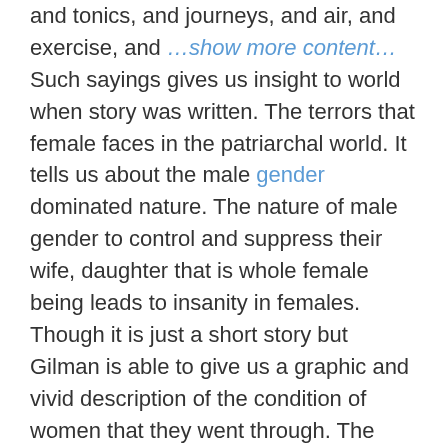and tonics, and journeys, and air, and exercise, and …show more content… Such sayings gives us insight to world when story was written. The terrors that female faces in the patriarchal world. It tells us about the male gender dominated nature. The nature of male gender to control and suppress their wife, daughter that is whole female being leads to insanity in females. Though it is just a short story but Gilman is able to give us a graphic and vivid description of the condition of women that they went through. The worst thing of all this sort of torment and torture is that they effected the mental psyche of females. And gave males a new topic of discussion that is madness in women. In story, a young and beautiful lady suffers from severe depression and her condition got worsen when she